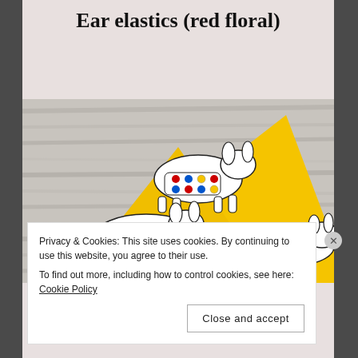Ear elastics (red floral)
[Figure (photo): Yellow fabric face mask/bandana featuring white cartoon dogs wearing colorful polka-dot sweaters, photographed on a white-washed wood surface.]
Privacy & Cookies: This site uses cookies. By continuing to use this website, you agree to their use.
To find out more, including how to control cookies, see here: Cookie Policy
Close and accept